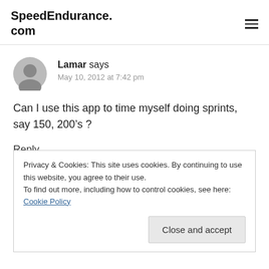SpeedEndurance.com
Lamar says
May 10, 2012 at 7:42 pm
Can I use this app to time myself doing sprints, say 150, 200’s ?
Reply
Privacy & Cookies: This site uses cookies. By continuing to use this website, you agree to their use.
To find out more, including how to control cookies, see here: Cookie Policy
Close and accept